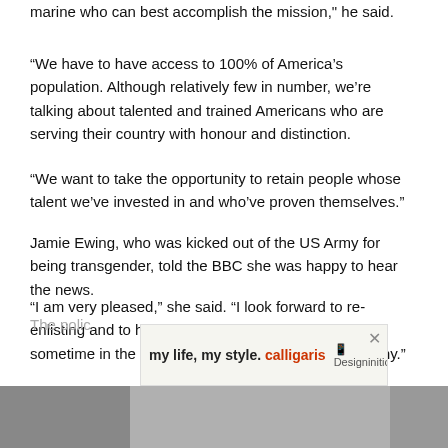marine who can best accomplish the mission," he said.
“We have to have access to 100% of America’s population. Although relatively few in number, we’re talking about talented and trained Americans who are serving their country with honour and distinction.
“We want to take the opportunity to retain people whose talent we’ve invested in and who’ve proven themselves.”
Jamie Ewing, who was kicked out of the US Army for being transgender, told the BBC she was happy to hear the news.
“I am very pleased,” she said. “I look forward to re-enlisting and to hopefully wear my uniform again sometime in the near future as a soldier in the US Army.”
The polic
[Figure (photo): Advertisement banner for Calligaris furniture: 'my life, my style. calligaris' with DesignInitio logo and close button]
[Figure (photo): Partial image at bottom of page, content obscured]